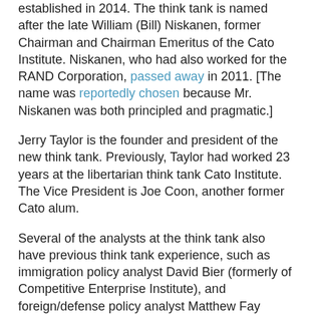established in 2014.  The think tank is named after the late William (Bill) Niskanen, former Chairman and Chairman Emeritus of the Cato Institute.  Niskanen, who had also worked for the RAND Corporation, passed away in 2011. [The name was reportedly chosen because Mr. Niskanen was both principled and pragmatic.]
Jerry Taylor is the founder and president of the new think tank.  Previously, Taylor had worked 23 years at the libertarian think tank Cato Institute.  The Vice President is Joe Coon, another former Cato alum.
Several of the analysts at the think tank also have previous think tank experience, such as immigration policy analyst David Bier (formerly of Competitive Enterprise Institute), and foreign/defense policy analyst Matthew Fay (formerly of Cato).
The advisory board consists of a variety of libertarian think tankers and conservative activists, and includes:
Terry Anderson, Property and Environment Research Center